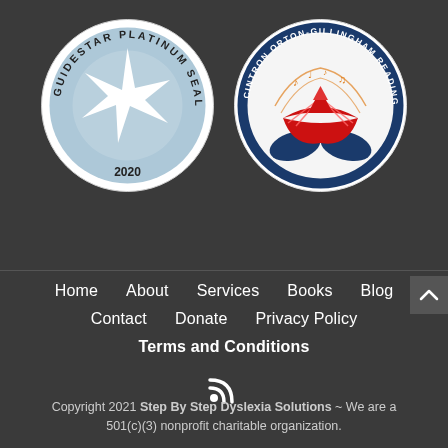[Figure (logo): GuideStar Platinum Seal of Transparency 2020 - circular badge with light blue background, white star in center, text around border]
[Figure (logo): Cintron Orton-Gillingham Reading Institute - circular badge with colorful book, hands, and musical notes logo]
Home
About
Services
Books
Blog
Contact
Donate
Privacy Policy
Terms and Conditions
[Figure (illustration): RSS feed icon in white]
Copyright 2021 Step By Step Dyslexia Solutions ~ We are a 501(c)(3) nonprofit charitable organization.